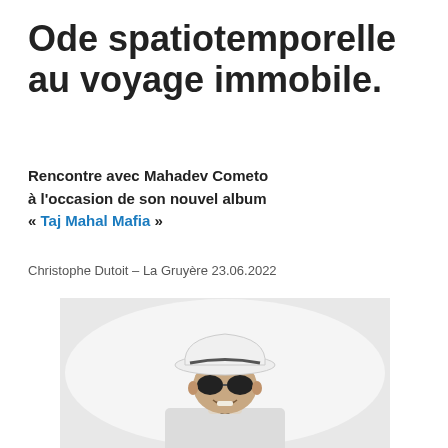Ode spatiotemporelle au voyage immobile.
Rencontre avec Mahadev Cometo à l'occasion de son nouvel album « Taj Mahal Mafia »
Christophe Dutoit – La Gruyère 23.06.2022
[Figure (photo): Man wearing a white fedora hat and dark sunglasses, mouth open, wearing a white jacket, photographed against a white/light grey background]